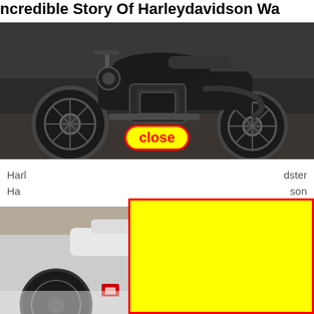Incredible Story Of Harleydavidson Wa…
[Figure (photo): Black Harley-Davidson motorcycle, side view, parked indoors on a dark floor, with a 'close' button overlay in yellow with red border]
Harl… dster
Ha… son
[Figure (photo): Partial view of a Harley-Davidson motorcycle, white/red, partially obscured by a large yellow rectangle with red border overlay (advertisement/popup)]